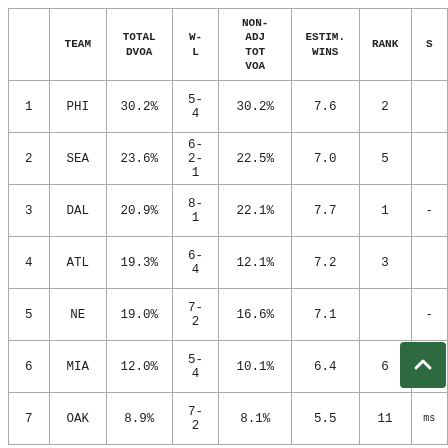|  | TEAM | TOTAL DVOA | W-L | NON-ADJ TOT VOA | ESTIM. WINS | RANK | S |
| --- | --- | --- | --- | --- | --- | --- | --- |
| 1 | PHI | 30.2% | 5-4 | 30.2% | 7.6 | 2 |  |
| 2 | SEA | 23.6% | 6-2-1 | 22.5% | 7.0 | 5 |  |
| 3 | DAL | 20.9% | 8-1 | 22.1% | 7.7 | 1 | - |
| 4 | ATL | 19.3% | 6-4 | 12.1% | 7.2 | 3 |  |
| 5 | NE | 19.0% | 7-2 | 16.6% | 7.1 |  | - |
| 6 | MIA | 12.0% | 5-4 | 10.1% | 6.4 | 6 | - |
| 7 | OAK | 8.9% | 7-2 | 8.1% | 5.5 | 11 | ms |